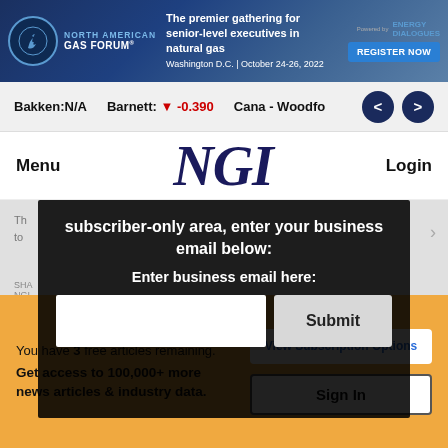[Figure (infographic): North American Gas Forum banner ad with logo, tagline 'The premier gathering for senior-level executives in natural gas', location 'Washington D.C. | October 24-26, 2022', powered by Energy Dialogues, and a blue Register Now button]
Bakken:N/A   Barnett: ▼ -0.390   Cana - Woodfo…
NGI
Menu
Login
subscriber-only area, enter your business email below:
Enter business email here:
Submit
'T…
You have 3 free articles remaining.
Get access to 100,000+ more news articles & industry data.
View Subscription Options
Sign In